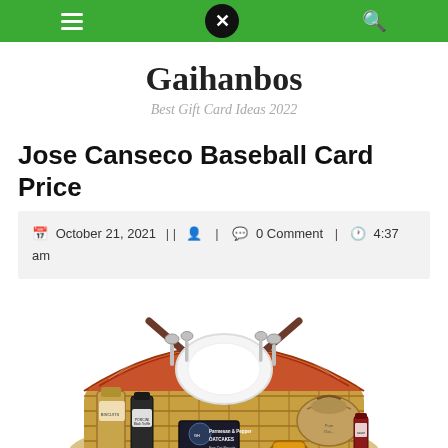Gaihanbos navigation bar with hamburger menu, close button, and search icon
Gaihanbos
Best Gift Card Ideas 2022
Jose Canseco Baseball Card Price
October 21, 2021 || 0 Comment | 4:37 am
[Figure (photo): Photo of a wicker picnic basket filled with food items, utensils, plates, and gourmet products including oatcakes and other packaged goods, with a tartan-lined lid open and brown leather straps visible.]